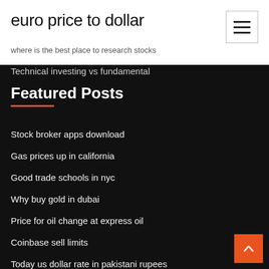euro price to dollar
where is the best place to research stocks
Technical investing vs fundamental
Featured Posts
Stock broker apps download
Gas prices up in california
Good trade schools in nyc
Why buy gold in dubai
Price for oil change at express oil
Coinbase sell limits
Today us dollar rate in pakistani rupees